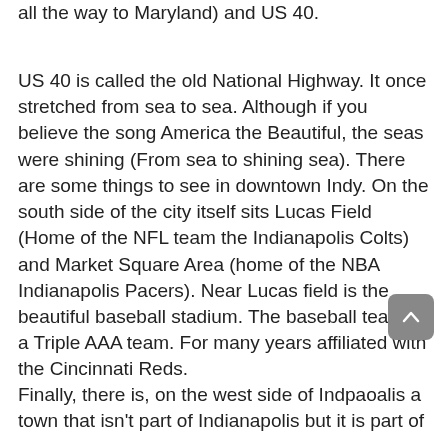all the way to Maryland) and US 40.
US 40 is called the old National Highway. It once stretched from sea to sea. Although if you believe the song America the Beautiful, the seas were shining (From sea to shining sea). There are some things to see in downtown Indy. On the south side of the city itself sits Lucas Field (Home of the NFL team the Indianapolis Colts) and Market Square Area (home of the NBA Indianapolis Pacers). Near Lucas field is the beautiful baseball stadium. The baseball team is a Triple AAA team. For many years affiliated with the Cincinnati Reds.
Finally, there is, on the west side of Indpaoalis a town that isn't part of Indianapolis but it is part of